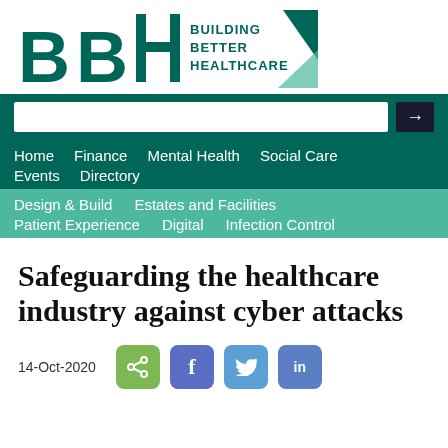[Figure (logo): BBH Building Better Healthcare logo with green letters and triangle graphic]
Home  Finance  Mental Health  Social Care  Events  Directory
Design & Build  Estates and Facilities  Patient Experience  Digital  Infection Control
Safeguarding the healthcare industry against cyber attacks
14-Oct-2020